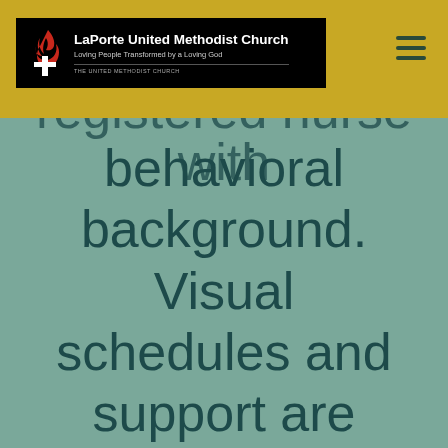[Figure (logo): LaPorte United Methodist Church logo with cross and flame icon, church name, tagline 'Loving People Transformed by a Loving God', and 'THE UNITED METHODIST CHURCH' denomination text, on black background]
registered nurse with behavioral background. Visual schedules and support are provided. This event will be held on